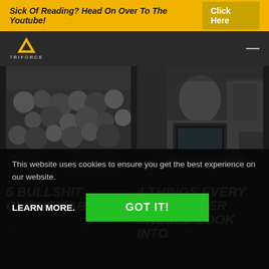Sick Of Reading? Head On Over To The Youtube! Click Here
[Figure (logo): 7RIFORCE logo with yellow downward triangle and text]
[Figure (photo): Black and white photo of a fruit/vegetable market stall]
[Figure (photo): Black and white photo of a trader working at a laptop]
5 BULLSHIT CLICHES ABOUT
4 THINGS EVERY NEW TRADER SHOULD LOOK INTO
This website uses cookies to ensure you get the best experience on our website.
LEARN MORE.
GOT IT!